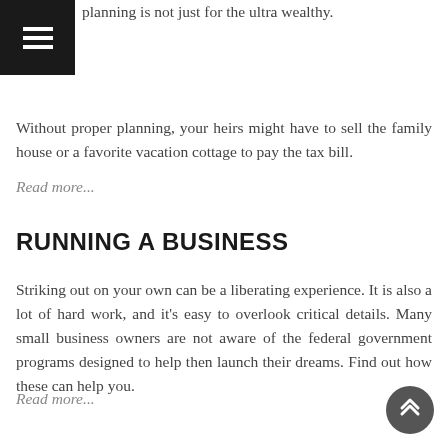planning is not just for the ultra wealthy. Without proper planning, your heirs might have to sell the family house or a favorite vacation cottage to pay the tax bill.
Read more...
RUNNING A BUSINESS
Striking out on your own can be a liberating experience. It is also a lot of hard work, and it's easy to overlook critical details. Many small business owners are not aware of the federal government programs designed to help then launch their dreams. Find out how these can help you.
Read more...